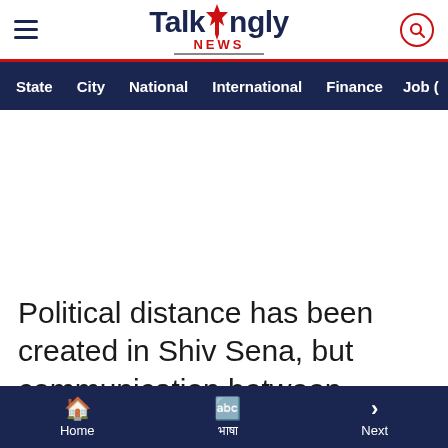Talkingly NEWS
State  City  National  International  Finance  Job (
Political distance has been created in Shiv Sena, but communication between leaders has not stopped: On Thursday
Home  भाषा  Next